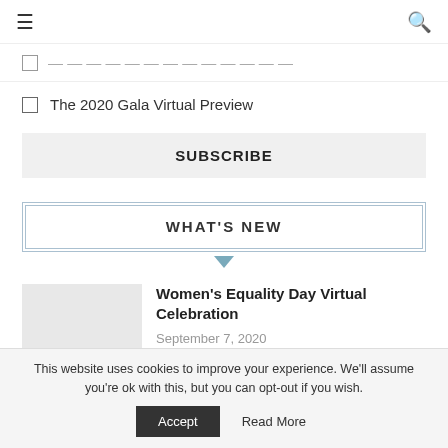≡  🔍
[truncated item - partially visible]
The 2020 Gala Virtual Preview
SUBSCRIBE
WHAT'S NEW
Women's Equality Day Virtual Celebration
September 7, 2020
[Figure (photo): Placeholder image for Women's Equality Day Virtual Celebration article thumbnail]
This website uses cookies to improve your experience. We'll assume you're ok with this, but you can opt-out if you wish.
Accept   Read More